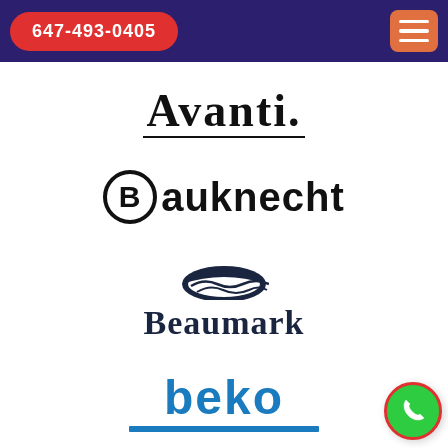647-493-0405
[Figure (logo): Avanti brand logo in cursive/script font with underline]
[Figure (logo): Bauknecht brand logo with circled B icon and bold sans-serif text]
[Figure (logo): Beaumark brand logo with arc/dome icon above serif text]
[Figure (logo): beko brand logo in bold blue sans-serif with blue underline stroke]